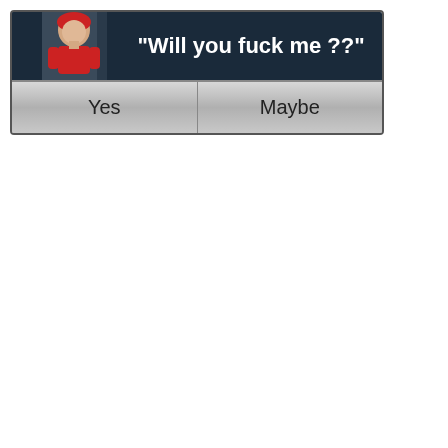[Figure (screenshot): A dialog box UI with dark navy background. On the left is a small avatar image of a 3D animated female character. The text reads: "Will you fuck me ??" in bold white. Below are two buttons: 'Yes' and 'Maybe'.]